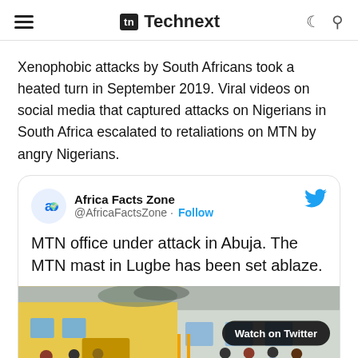Technext
Xenophobic attacks by South Africans took a heated turn in September 2019. Viral videos on social media that captured attacks on Nigerians in South Africa escalated to retaliations on MTN by angry Nigerians.
[Figure (screenshot): Embedded tweet from Africa Facts Zone (@AfricaFactsZone) with text: MTN office under attack in Abuja. The MTN mast in Lugbe has been set ablaze. Includes a photo of people standing in front of a yellow building with a 'Watch on Twitter' badge overlay.]